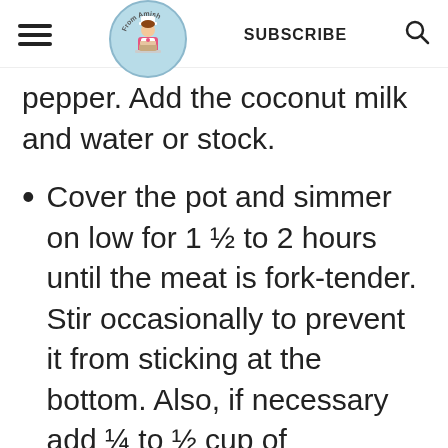SUBSCRIBE
pepper. Add the coconut milk and water or stock.
Cover the pot and simmer on low for 1 ½ to 2 hours until the meat is fork-tender. Stir occasionally to prevent it from sticking at the bottom. Also, if necessary add ¼ to ½ cup of
water at a time to ensure it has enough liquid to cook.